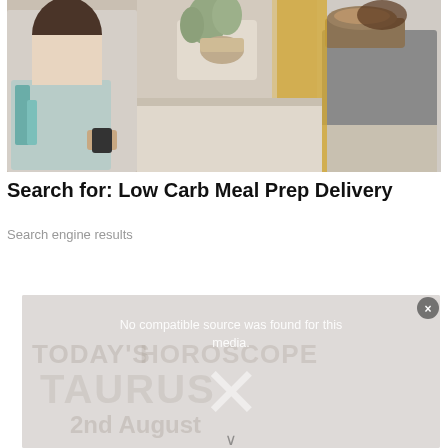[Figure (photo): A person in a light sweater receiving a food delivery tray from a person in a gray long-sleeve shirt, with plants and warm background]
Search for: Low Carb Meal Prep Delivery
Search engine results
[Figure (screenshot): Video player overlay showing 'No compatible source was found for this media.' with a faded TODAY'S HOROSCOPE background showing Taurus and 2nd August, with an X close button and down arrow]